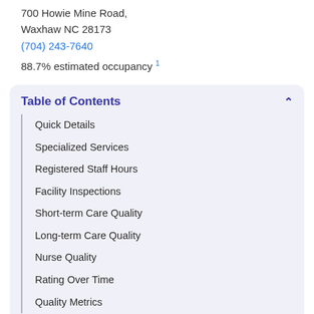700 Howie Mine Road,
Waxhaw NC 28173
(704) 243-7640
88.7% estimated occupancy 1
Table of Contents
Quick Details
Specialized Services
Registered Staff Hours
Facility Inspections
Short-term Care Quality
Long-term Care Quality
Nurse Quality
Rating Over Time
Quality Metrics